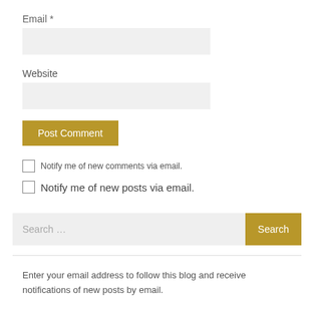Email *
Website
Post Comment
Notify me of new comments via email.
Notify me of new posts via email.
Search ...
Enter your email address to follow this blog and receive notifications of new posts by email.